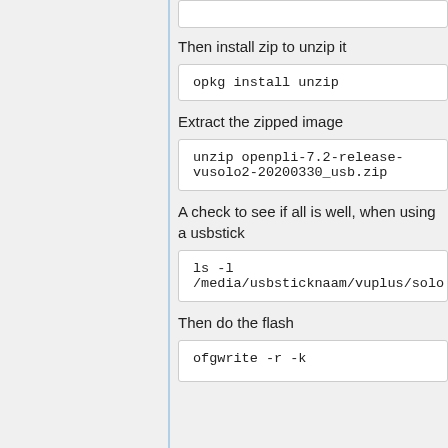Then install zip to unzip it
opkg install unzip
Extract the zipped image
unzip openpli-7.2-release-vusolo2-20200330_usb.zip
A check to see if all is well, when using a usbstick
ls -l /media/usbsticknaam/vuplus/solo
Then do the flash
ofgwrite -r -k